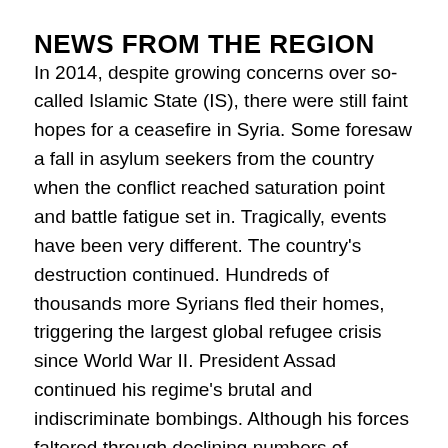NEWS FROM THE REGION
In 2014, despite growing concerns over so-called Islamic State (IS), there were still faint hopes for a ceasefire in Syria. Some foresaw a fall in asylum seekers from the country when the conflict reached saturation point and battle fatigue set in. Tragically, events have been very different. The country’s destruction continued. Hundreds of thousands more Syrians fled their homes, triggering the largest global refugee crisis since World War II. President Assad continued his regime’s brutal and indiscriminate bombings. Although his forces faltered through declining numbers of soldiers, support from Hezbollah, Iran